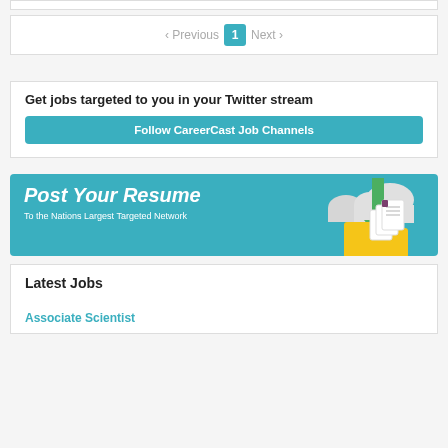< Previous  1  Next >
Get jobs targeted to you in your Twitter stream
Follow CareerCast Job Channels
[Figure (infographic): Post Your Resume banner in teal with folder and upload cloud graphic. Text: Post Your Resume / To the Nations Largest Targeted Network]
Latest Jobs
Associate Scientist